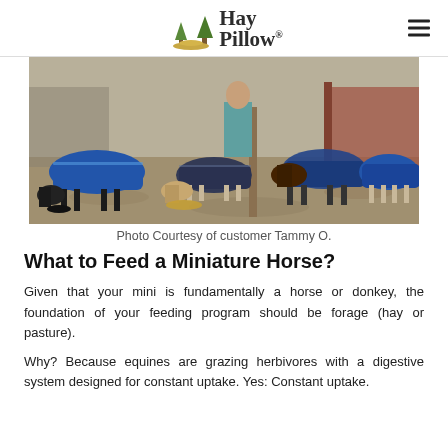Hay Pillow®
[Figure (photo): Photo of several miniature horses wearing colorful blankets/rugs (blue, navy, teal) eating from the ground in a dirt paddock near a barn. Three or four horses are visible, heads down feeding.]
Photo Courtesy of customer Tammy O.
What to Feed a Miniature Horse?
Given that your mini is fundamentally a horse or donkey, the foundation of your feeding program should be forage (hay or pasture).
Why? Because equines are grazing herbivores with a digestive system designed for constant uptake. Yes: Constant uptake.